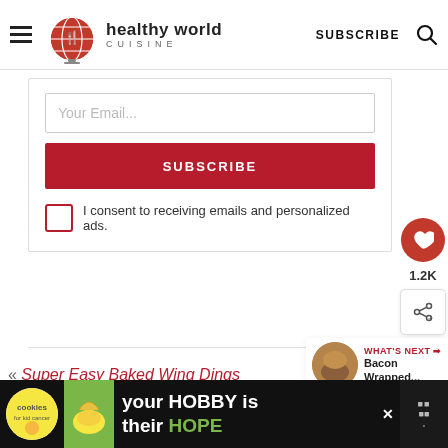healthy world CUISINE | SUBSCRIBE
Your Email...
SUBSCRIBE
I consent to receiving emails and personalized ads.
1.2K
WHAT'S NEXT → Bacon Wrapped...
« Super Easy Baked Wing Dings
[Figure (screenshot): Advertisement banner: cookies for kid cancer charity with text 'your HOBBY is their HOPE']